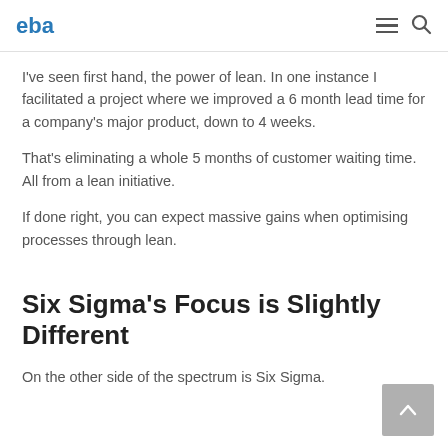eba
I've seen first hand, the power of lean. In one instance I facilitated a project where we improved a 6 month lead time for a company's major product, down to 4 weeks.
That's eliminating a whole 5 months of customer waiting time. All from a lean initiative.
If done right, you can expect massive gains when optimising processes through lean.
Six Sigma's Focus is Slightly Different
On the other side of the spectrum is Six Sigma.